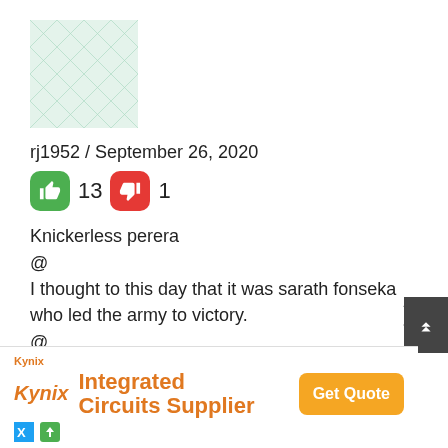[Figure (illustration): Green geometric patterned avatar/profile image with interlocking diamond shapes]
rj1952 / September 26, 2020
[Figure (infographic): Thumbs up icon (green) with count 13, thumbs down icon (red) with count 1]
Knickerless perera
@
I thought to this day that it was sarath fonseka who led the army to victory.
@
This kallathoni of yours was importing
[Figure (infographic): Advertisement banner: Kynix Integrated Circuits Supplier with Get Quote button]